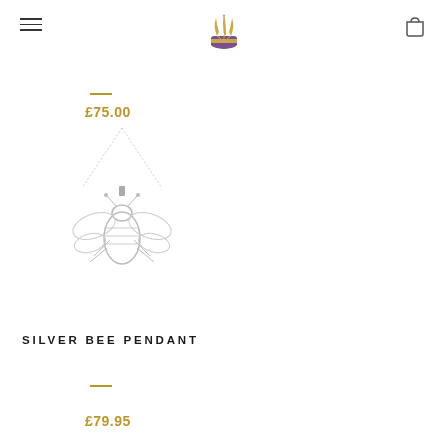Navigation header with hamburger menu, royal crest logo, and shopping bag icon
£75.00
[Figure (photo): Silver bee pendant necklace on a fine chain, shown on white background. The pendant is a detailed silver bee charm.]
SILVER BEE PENDANT
£79.95